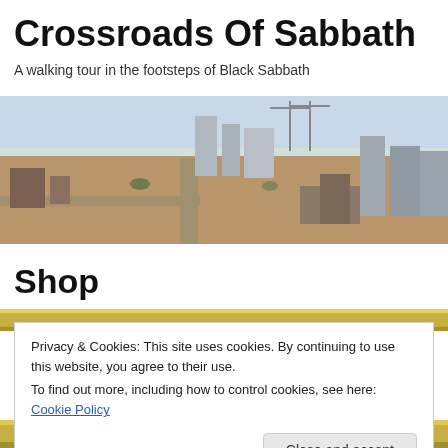Crossroads Of Sabbath
A walking tour in the footsteps of Black Sabbath
[Figure (photo): Aerial panoramic view of Birmingham city construction site with cranes, buildings, and open land in the 1960s or 1970s]
Shop
[Figure (photo): Partial view of shop item with gold/olive colored top strip]
Privacy & Cookies: This site uses cookies. By continuing to use this website, you agree to their use.
To find out more, including how to control cookies, see here: Cookie Policy
Close and accept
[Figure (photo): Bottom strip of shop item image]